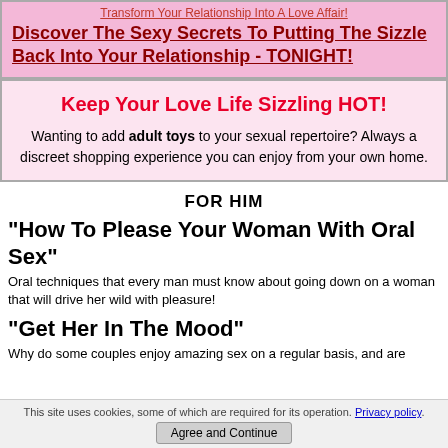Transform Your Relationship Into A Love Affair!
Discover The Sexy Secrets To Putting The Sizzle Back Into Your Relationship - TONIGHT!
Keep Your Love Life Sizzling HOT!
Wanting to add adult toys to your sexual repertoire? Always a discreet shopping experience you can enjoy from your own home.
FOR HIM
"How To Please Your Woman With Oral Sex"
Oral techniques that every man must know about going down on a woman that will drive her wild with pleasure!
"Get Her In The Mood"
Why do some couples enjoy amazing sex on a regular basis, and are
This site uses cookies, some of which are required for its operation. Privacy policy. Agree and Continue